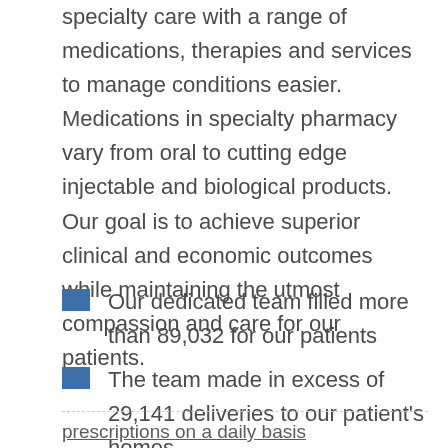specialty care with a range of medications, therapies and services to manage conditions easier. Medications in specialty pharmacy vary from oral to cutting edge injectable and biological products. Our goal is to achieve superior clinical and economic outcomes while maintaining the utmost compassion and care for our patients.
Our dedicated team filled more than 89,032 for our patients
The team made in excess of 29,141 deliveries to our patient's homes
The division averages approximately 341 prescriptions on a daily basis